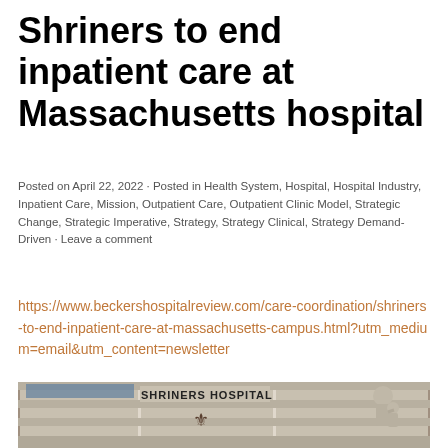Shriners to end inpatient care at Massachusetts hospital
Posted on April 22, 2022 · Posted in Health System, Hospital, Hospital Industry, Inpatient Care, Mission, Outpatient Care, Outpatient Clinic Model, Strategic Change, Strategic Imperative, Strategy, Strategy Clinical, Strategy Demand-Driven · Leave a comment
https://www.beckershospitalreview.com/care-coordination/shriners-to-end-inpatient-care-at-massachusetts-campus.html?utm_medium=email&utm_content=newsletter
[Figure (photo): Exterior photo of Shriners Hospital building with 'SHRINERS HOSPITAL' text on facade and a statue of a man holding a child visible on the right side.]